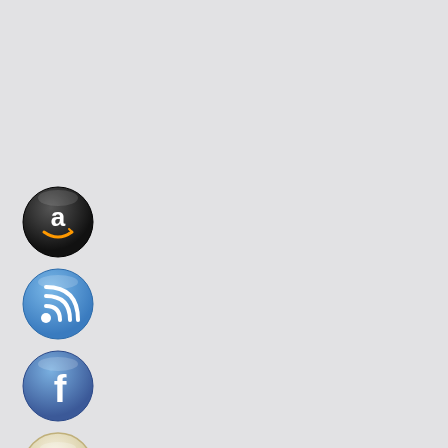[Figure (illustration): Five circular social/platform icon buttons arranged vertically on the left side of the page against a light gray background: Amazon (black glossy circle with white 'a' and orange smile), RSS (blue glossy circle with white wifi/RSS signal icon), Facebook (blue glossy circle with white lowercase 'f'), Goodreads (cream/beige circle with 'gr' text), Email (cream/beige circle with envelope icon).]